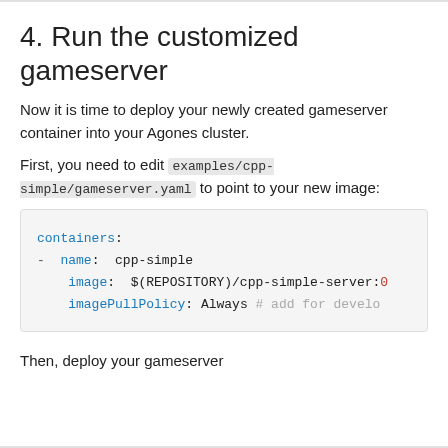4. Run the customized gameserver
Now it is time to deploy your newly created gameserver container into your Agones cluster.
First, you need to edit examples/cpp-simple/gameserver.yaml to point to your new image:
[Figure (screenshot): YAML code block showing containers configuration with name: cpp-simple, image: $(REPOSITORY)/cpp-simple-server:0, imagePullPolicy: Always # add for develo]
Then, deploy your gameserver